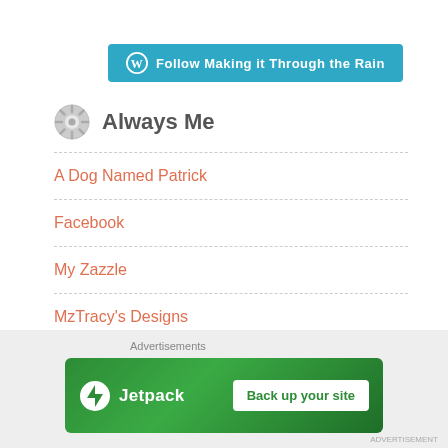[Figure (logo): WordPress follow button: teal rounded rectangle with WordPress W icon and text 'Follow Making it Through the Rain']
Always Me
A Dog Named Patrick
Facebook
My Zazzle
MzTracy's Designs
Twitter
Advertisements
[Figure (screenshot): Jetpack advertisement banner: green background with Jetpack logo and 'Back up your site' button]